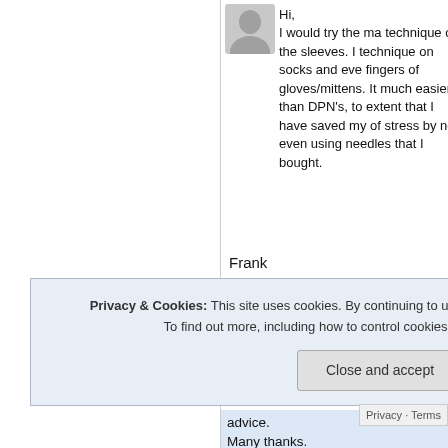[Figure (other): User avatar placeholder grey silhouette icon]
Hi,
I would try the magic loop technique on the sleeves. I use this technique on socks and even the fingers of gloves/mittens. It's much easier than DPN's, to the extent that I have saved my lot of stress by not even using needles that I bought.
Frank
PS your website is great, as to knit my first Gansey some the next 6mths.
Privacy & Cookies: This site uses cookies. By continuing to use this website, you agree to their use.
To find out more, including how to control cookies, see here: About Cookies
Close and accept
advice.
Many thanks.